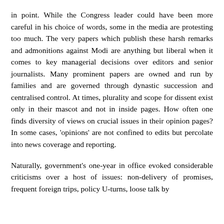in point. While the Congress leader could have been more careful in his choice of words, some in the media are protesting too much. The very papers which publish these harsh remarks and admonitions against Modi are anything but liberal when it comes to key managerial decisions over editors and senior journalists. Many prominent papers are owned and run by families and are governed through dynastic succession and centralised control. At times, plurality and scope for dissent exist only in their mascot and not in inside pages. How often one finds diversity of views on crucial issues in their opinion pages? In some cases, 'opinions' are not confined to edits but percolate into news coverage and reporting.
Naturally, government's one-year in office evoked considerable criticisms over a host of issues: non-delivery of promises, frequent foreign trips, policy U-turns, loose talk by